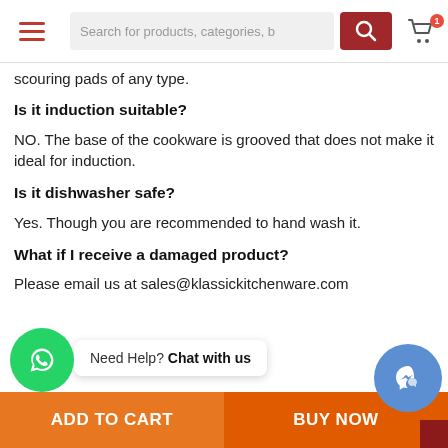Search for products, categories, b
scouring pads of any type.
Is it induction suitable?
NO. The base of the cookware is grooved that does not make it ideal for induction.
Is it dishwasher safe?
Yes. Though you are recommended to hand wash it.
What if I receive a damaged product?
Please email us at sales@klassickitchenware.com